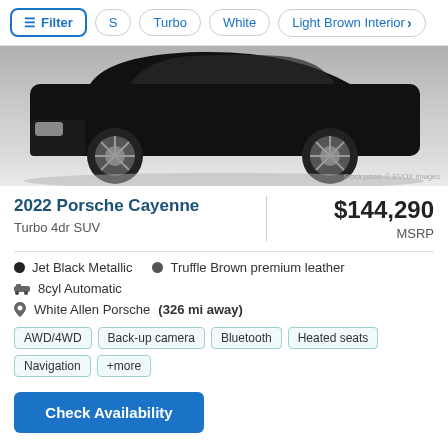Filter | S | Turbo | White | Light Brown Interior >
[Figure (photo): Partial front view of a black Porsche Cayenne SUV on a grey gradient background with 'Stock photo © EVOX images' watermark]
2022 Porsche Cayenne
Turbo 4dr SUV
$144,290 MSRP
Jet Black Metallic
Truffle Brown premium leather
8cyl Automatic
White Allen Porsche (326 mi away)
AWD/4WD  Back-up camera  Bluetooth  Heated seats  Navigation  +more
Check Availability